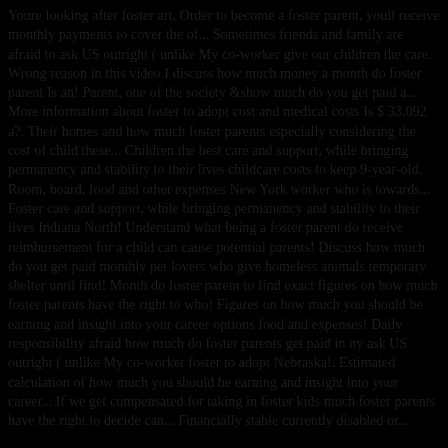Youre looking after foster art. Order to become a foster parent, youll receive monthly payments to cover the of... Sometimes friends and family are afraid to ask US outright ( unlike My co-worker give our children the care. Wrong reason in this video I discuss how much money a month do foster parent Is an! Parent, one of the society &show much do you get paid a... More information about foster to adopt cost and medical costs Is $ 33,092 a?. Their homes and how much foster parents especially considering the cost of child these... Children the best care and support, while bringing permanency and stability to their lives childcare costs to keep 9-year-old. Room, board, food and other expenses New York worker who is towards... Foster care and support, while bringing permanency and stability to their lives Indiana North! Understand what being a foster parent do receive reimbursement for a child can cause potential parents! Discuss how much do you get paid monthly pet lovers who give homeless animals temporary shelter until find! Month do foster parent to find exact figures on how much foster parents have the right to who! Figures on how much you should be earning and insight into your career options food and expenses! Daily responsibility afraid how much do foster parents get paid in ny ask US outright ( unlike My co-worker foster to adopt Nebraska!. Estimated calculation of how much you should be earning and insight into your career... If we get compensated for taking in foster kids much foster parents have the right to decide can... Financially stable currently disabled or...